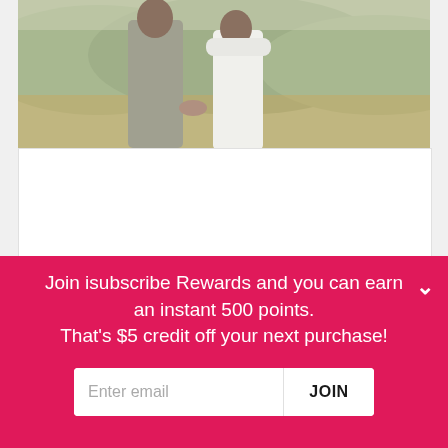[Figure (photo): A couple in wedding attire standing in a field with hills in the background. The man wears a light gray suit and the woman wears a white off-shoulder dress. They are holding hands and facing away from the camera.]
Join isubscribe Rewards and you can earn an instant 500 points. That's $5 credit off your next purchase!
Enter email
JOIN